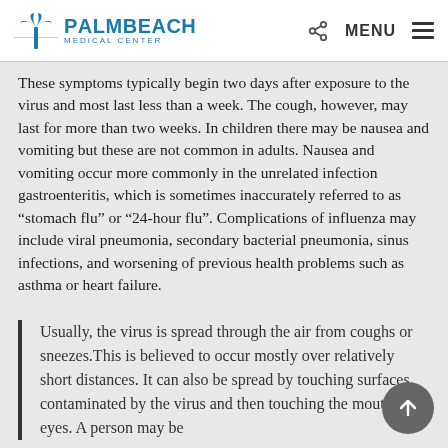PalmBeach Medical Center
These symptoms typically begin two days after exposure to the virus and most last less than a week. The cough, however, may last for more than two weeks. In children there may be nausea and vomiting but these are not common in adults. Nausea and vomiting occur more commonly in the unrelated infection gastroenteritis, which is sometimes inaccurately referred to as “stomach flu” or “24-hour flu”. Complications of influenza may include viral pneumonia, secondary bacterial pneumonia, sinus infections, and worsening of previous health problems such as asthma or heart failure.
Usually, the virus is spread through the air from coughs or sneezes.This is believed to occur mostly over relatively short distances. It can also be spread by touching surfaces contaminated by the virus and then touching the mouth or eyes. A person may be